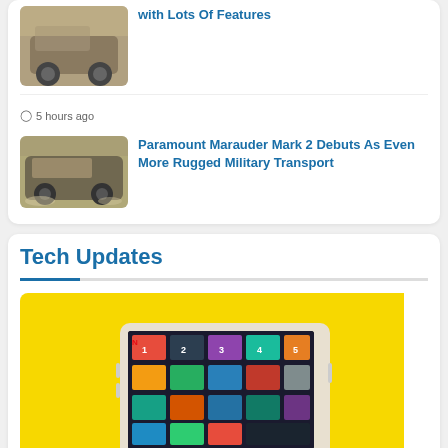[Figure (photo): Thumbnail of a vehicle (partially cut off at top of page)]
with Lots Of Features
5 hours ago
[Figure (photo): Military armored vehicle (Paramount Marauder Mark 2) driving in dusty terrain]
Paramount Marauder Mark 2 Debuts As Even More Rugged Military Transport
Tech Updates
[Figure (photo): iPad/tablet with Netflix app displayed on bright yellow background, with Tech badge overlay]
todayuknews  7 mins ago